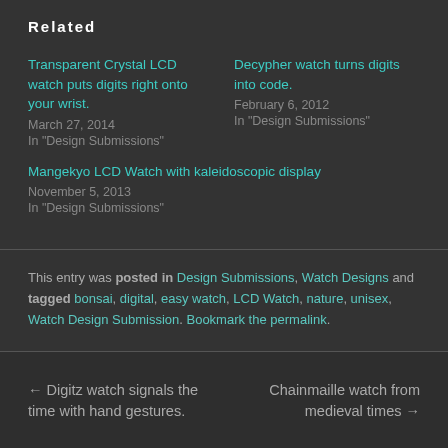Related
Transparent Crystal LCD watch puts digits right onto your wrist.
March 27, 2014
In "Design Submissions"
Decypher watch turns digits into code.
February 6, 2012
In "Design Submissions"
Mangekyo LCD Watch with kaleidoscopic display
November 5, 2013
In "Design Submissions"
This entry was posted in Design Submissions, Watch Designs and tagged bonsai, digital, easy watch, LCD Watch, nature, unisex, Watch Design Submission. Bookmark the permalink.
← Digitz watch signals the time with hand gestures.
Chainmaille watch from medieval times →